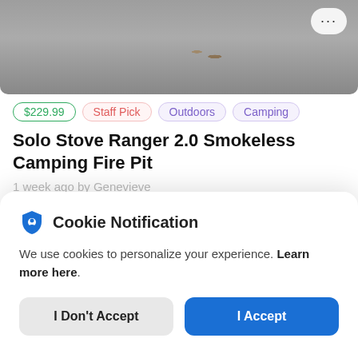[Figure (photo): Top portion of a product page showing a fire pit with logs on gravel, with a three-dot menu button in top right corner]
$229.99  Staff Pick  Outdoors  Camping
Solo Stove Ranger 2.0 Smokeless Camping Fire Pit
1 week ago by Genevieve
[Figure (photo): Outdoor scene with blue sky, trees, a person's arm, and a circular green avatar icon]
Cookie Notification
We use cookies to personalize your experience. Learn more here.
I Don't Accept
I Accept